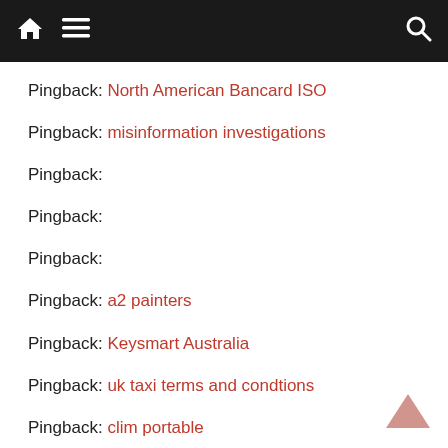Navigation bar with home, menu, and search icons
Pingback: North American Bancard ISO
Pingback: misinformation investigations
Pingback:
Pingback:
Pingback:
Pingback: a2 painters
Pingback: Keysmart Australia
Pingback: uk taxi terms and condtions
Pingback: clim portable
Pingback: cyberthum